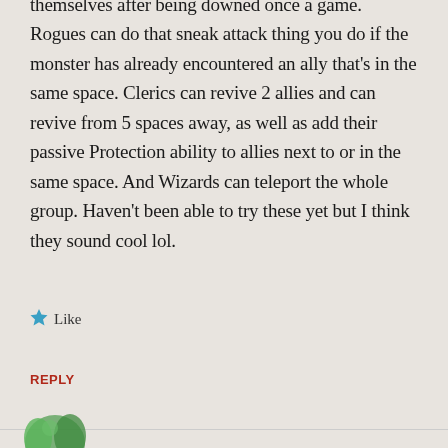themselves after being downed once a game. Rogues can do that sneak attack thing you do if the monster has already encountered an ally that's in the same space. Clerics can revive 2 allies and can revive from 5 spaces away, as well as add their passive Protection ability to allies next to or in the same space. And Wizards can teleport the whole group. Haven't been able to try these yet but I think they sound cool lol.
★ Like
REPLY